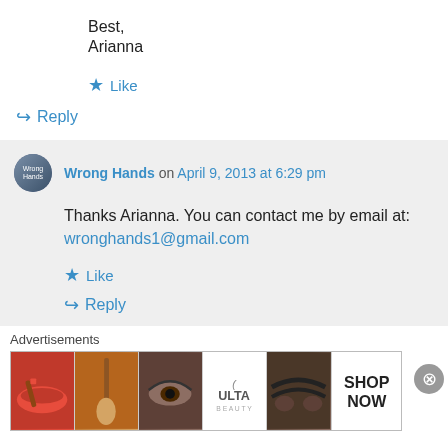Best,
Arianna
★ Like
↪ Reply
Wrong Hands on April 9, 2013 at 6:29 pm
Thanks Arianna. You can contact me by email at: wronghands1@gmail.com
★ Like
↪ Reply
Advertisements
[Figure (other): Advertisement banner with beauty/makeup product images and Ulta logo with SHOP NOW button]